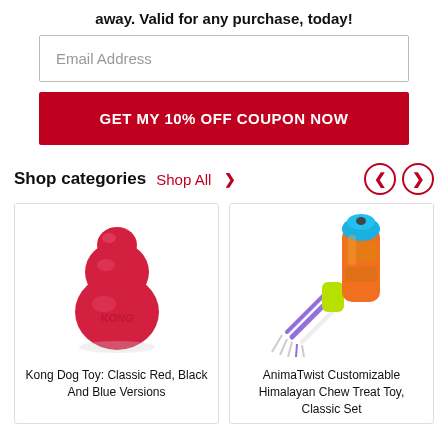away. Valid for any purchase, today!
[Figure (screenshot): Email Address input field]
[Figure (screenshot): GET MY 10% OFF COUPON NOW button]
Shop categories  Shop All >
[Figure (photo): Kong Dog Toy: Classic Red rubber chew toy]
[Figure (photo): AnimaTwist Customizable Himalayan Chew Treat Toy with rope]
Kong Dog Toy: Classic Red, Black And Blue Versions
AnimaTwist Customizable Himalayan Chew Treat Toy, Classic Set